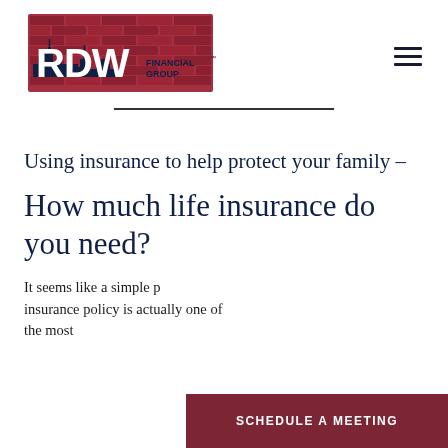[Figure (logo): RDW Financial Group logo with brick wall background and city skyline silhouette]
Using insurance to help protect your family –
How much life insurance do you need?
It seems like a simple p... insurance policy is actually one of the most
SCHEDULE A MEETING